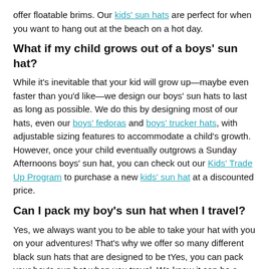offer floatable brims. Our kids' sun hats are perfect for when you want to hang out at the beach on a hot day.
What if my child grows out of a boys' sun hat?
While it's inevitable that your kid will grow up—maybe even faster than you'd like—we design our boys' sun hats to last as long as possible. We do this by designing most of our hats, even our boys' fedoras and boys' trucker hats, with adjustable sizing features to accommodate a child's growth. However, once your child eventually outgrows a Sunday Afternoons boys' sun hat, you can check out our Kids' Trade Up Program to purchase a new kids' sun hat at a discounted price.
Can I pack my boy's sun hat when I travel?
Yes, we always want you to be able to take your hat with you on your adventures! That's why we offer so many different black sun hats that are designed to be tYes, you can pack your boy's sun hat when you travel. We know it can be a challenge traveling with children, which is why we make it as simple as